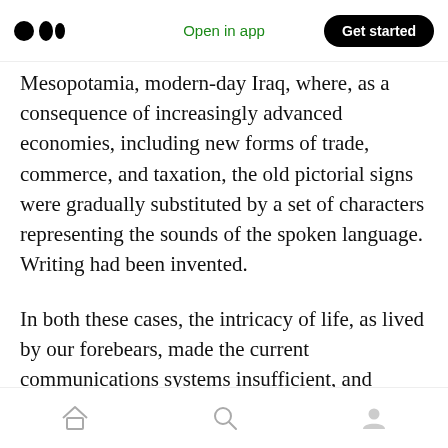Open in app | Get started
Mesopotamia, modern-day Iraq, where, as a consequence of increasingly advanced economies, including new forms of trade, commerce, and taxation, the old pictorial signs were gradually substituted by a set of characters representing the sounds of the spoken language. Writing had been invented.
In both these cases, the intricacy of life, as lived by our forebears, made the current communications systems insufficient, and brought forth new ones — first, a language in which to interpret and expound on a world which
Home | Search | Profile